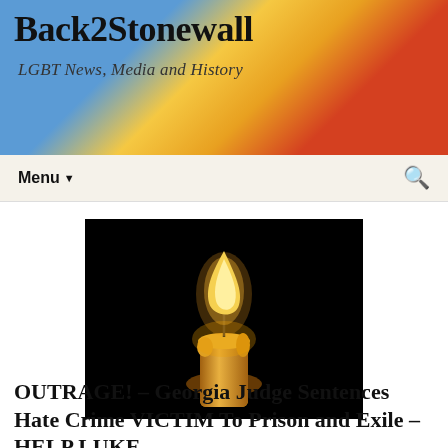Back2Stonewall
LGBT News, Media and History
Menu
[Figure (photo): A lit candle with an orange-yellow flame against a dark black background, with melted wax around the top.]
OUTRAGE! – Georgia Judge Sentences Hate Crime VICTIM To Prison and Exile – HELP LUKE